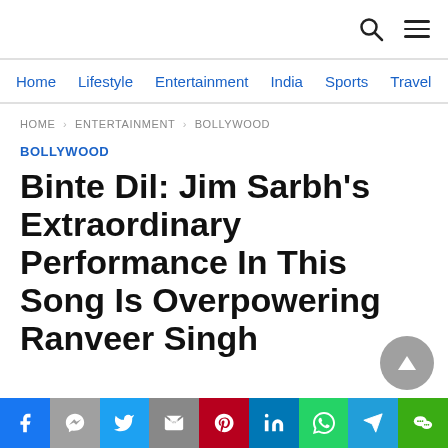Navigation header with search and menu icons
Home  Lifestyle  Entertainment  India  Sports  Travel
HOME > ENTERTAINMENT > BOLLYWOOD
BOLLYWOOD
Binte Dil: Jim Sarbh's Extraordinary Performance In This Song Is Overpowering Ranveer Singh
Social share bar: Facebook, Messenger, Twitter, Mail, Pinterest, LinkedIn, WhatsApp, Telegram, WeChat